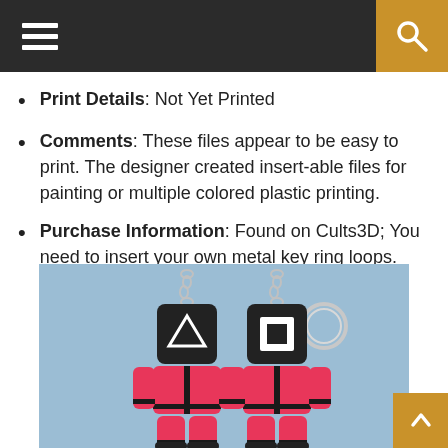Navigation bar with hamburger menu and search icon
Print Details: Not Yet Printed
Comments: These files appear to be easy to print. The designer created insert-able files for painting or multiple colored plastic printing.
Purchase Information: Found on Cults3D; You need to insert your own metal key ring loops.
[Figure (photo): Two pink Squid Game character keychains on a blue background. One has a triangle symbol on its head and the other has a square symbol. Both have silver metal key ring loops attached.]